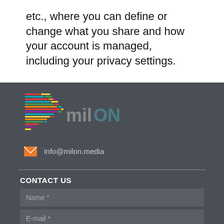etc., where you can define or change what you share and how your account is managed, including your privacy settings.
[Figure (logo): milON logo with colorful horizontal lines forming an arrow/chevron shape on the left, and 'milON' text in grey and teal on the right]
info@milon.media
CONTACT US
Name *
E-mail *
Message